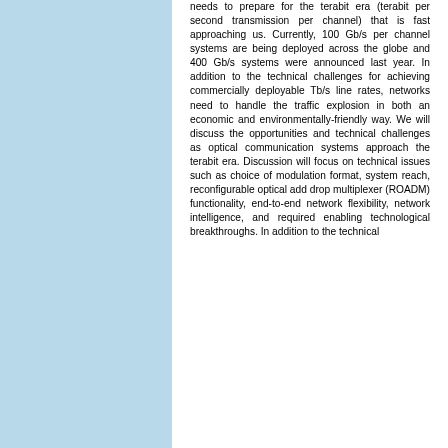needs to prepare for the terabit era (terabit per second transmission per channel) that is fast approaching us. Currently, 100 Gb/s per channel systems are being deployed across the globe and 400 Gb/s systems were announced last year. In addition to the technical challenges for achieving commercially deployable Tb/s line rates, networks need to handle the traffic explosion in both an economic and environmentally-friendly way. We will discuss the opportunities and technical challenges as optical communication systems approach the terabit era. Discussion will focus on technical issues such as choice of modulation format, system reach, reconfigurable optical add drop multiplexer (ROADM) functionality, end-to-end network flexibility, network intelligence, and required enabling technological breakthroughs. In addition to the technical